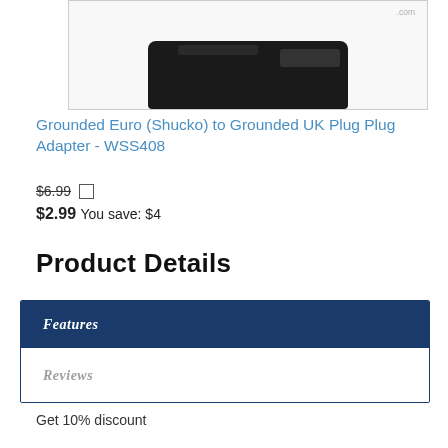[Figure (photo): Product photo of a plug adapter (black) shown against white background, partially cropped at top. Watermark text visible in upper right.]
Grounded Euro (Shucko) to Grounded UK Plug Plug Adapter - WSS408
$6.99 [checkbox] $2.99 You save: $4
Product Details
Features
Reviews
Get 10% discount